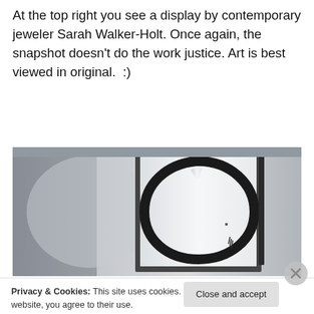At the top right you see a display by contemporary jeweler Sarah Walker-Holt. Once again, the snapshot doesn't do the work justice. Art is best viewed in original.  :)
[Figure (photo): A framed artwork on a wall showing a large brushstroke circle (enso) painted in black ink on white paper, displayed in a dark frame against a light grey wall.]
Privacy & Cookies: This site uses cookies. By continuing to use this website, you agree to their use.
To find out more, including how to control cookies, see here: Cookie Policy
Close and accept